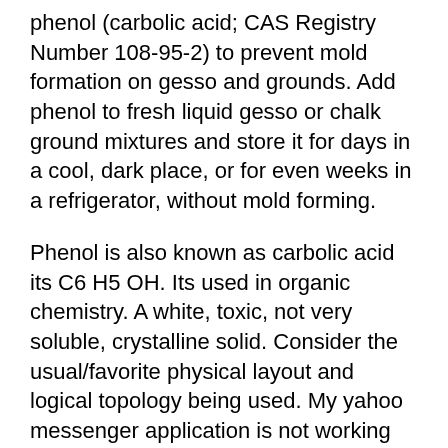phenol (carbolic acid; CAS Registry Number 108-95-2) to prevent mold formation on gesso and grounds. Add phenol to fresh liquid gesso or chalk ground mixtures and store it for days in a cool, dark place, or for even weeks in a refrigerator, without mold forming.
Phenol is also known as carbolic acid its C6 H5 OH. Its used in organic chemistry. A white, toxic, not very soluble, crystalline solid. Consider the usual/favorite physical layout and logical topology being used. My yahoo messenger application is not working properly. The very moment I open the application, it opens and is stucked.I Purna called phenol "KarboleEvum"